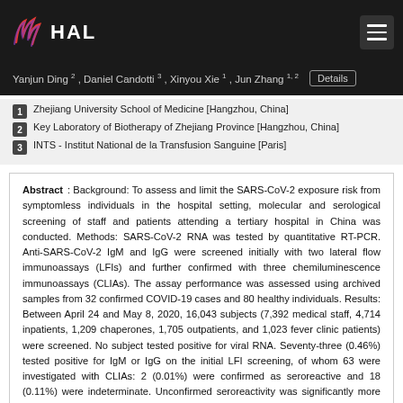HAL
Yanjun Ding 2 , Daniel Candotti 3 , Xinyou Xie 1 , Jun Zhang 1, 2   Details
1  Zhejiang University School of Medicine [Hangzhou, China]
2  Key Laboratory of Biotherapy of Zhejiang Province [Hangzhou, China]
3  INTS - Institut National de la Transfusion Sanguine [Paris]
Abstract : Background: To assess and limit the SARS-CoV-2 exposure risk from symptomless individuals in the hospital setting, molecular and serological screening of staff and patients attending a tertiary hospital in China was conducted. Methods: SARS-CoV-2 RNA was tested by quantitative RT-PCR. Anti-SARS-CoV-2 IgM and IgG were screened initially with two lateral flow immunoassays (LFIs) and further confirmed with three chemiluminescence immunoassays (CLIAs). The assay performance was assessed using archived samples from 32 confirmed COVID-19 cases and 80 healthy individuals. Results: Between April 24 and May 8, 2020, 16,043 subjects (7,392 medical staff, 4,714 inpatients, 1,209 chaperones, 1,705 outpatients, and 1,023 fever clinic patients) were screened. No subject tested positive for viral RNA. Seventy-three (0.46%) tested positive for IgM or IgG on the initial LFI screening, of whom 63 were investigated with CLIAs: 2 (0.01%) were confirmed as seroreactive and 18 (0.11%) were indeterminate. Unconfirmed seroreactivity was significantly more frequent in fever clinic patients. The CLIAs showed similar (95.0-100%) IgM or IgG specificity but higher IgG sensitivity (93.75-96.88% vs.